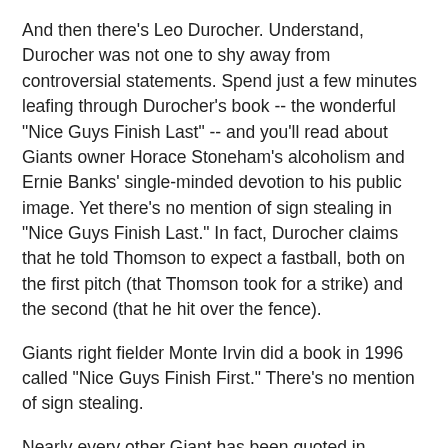And then there's Leo Durocher. Understand, Durocher was not one to shy away from controversial statements. Spend just a few minutes leafing through Durocher's book -- the wonderful "Nice Guys Finish Last" -- and you'll read about Giants owner Horace Stoneham's alcoholism and Ernie Banks' single-minded devotion to his public image. Yet there's no mention of sign stealing in "Nice Guys Finish Last." In fact, Durocher claims that he told Thomson to expect a fastball, both on the first pitch (that Thomson took for a strike) and the second (that he hit over the fence).
Giants right fielder Monte Irvin did a book in 1996 called "Nice Guys Finish First." There's no mention of sign stealing.
Nearly every other Giant has been quoted in various books -- I've got one called "The Miracle at Coogan's Bluff," and another called "The Home Run Heard 'Round the World" -- and none of them includes a mention, an inkling, even the tiniest hint of any chicanery. Now, I certainly don't blame any of the Giants for failing to volunteer such information. After all, when finally confronted with pointed questions by Josh P...